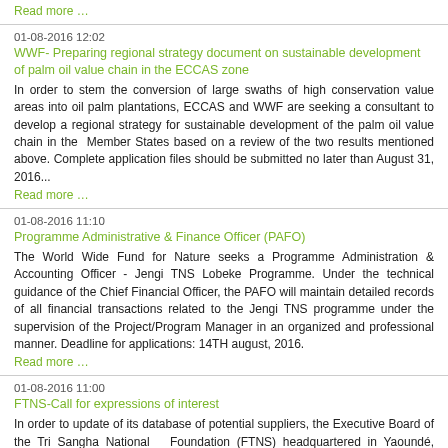Read more …
01-08-2016 12:02
WWF- Preparing regional strategy document on sustainable development of palm oil value chain in the ECCAS zone
In order to stem the conversion of large swaths of high conservation value areas into oil palm plantations, ECCAS and WWF are seeking a consultant to develop a regional strategy for sustainable development of the palm oil value chain in the  Member States based on a review of the two results mentioned above. Complete application files should be submitted no later than August 31, 2016...
Read more …
01-08-2016 11:10
Programme Administrative & Finance Officer (PAFO)
The World Wide Fund for Nature seeks a Programme Administration & Accounting Officer - Jengi TNS Lobeke Programme. Under the technical guidance of the Chief Financial Officer, the PAFO will maintain detailed records of all financial transactions related to the Jengi TNS programme under the supervision of the Project/Program Manager in an organized and professional manner. Deadline for applications: 14TH august, 2016.
Read more …
01-08-2016 11:00
FTNS-Call for expressions of interest
In order to update of its database of potential suppliers, the Executive Board of the Tri Sangha National  Foundation (FTNS) headquartered in Yaoundé, Cameroon and located at derrière usine Bastos is inviting expressions of interest from companies and other organizations interested in bidding and quoting for the provision of goods or services in the following fields.